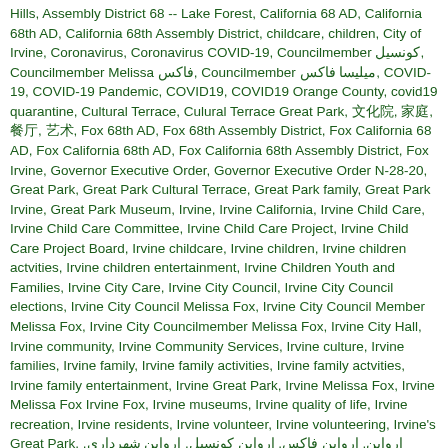Hills, Assembly District 68 -- Lake Forest, California 68 AD, California 68th AD, California 68th Assembly District, childcare, children, City of Irvine, Coronavirus, Coronavirus COVID-19, Councilmember کونسیل, Councilmember Melissa فاکس, Councilmember میلیسا فاکس, COVID-19, COVID-19 Pandemic, COVID19, COVID19 Orange County, covid19 quarantine, Cultural Terrace, Culural Terrace Great Park, 文化院, 家庭, 餐厅, 艺术, Fox 68th AD, Fox 68th Assembly District, Fox California 68 AD, Fox California 68th AD, Fox California 68th Assembly District, Fox Irvine, Governor Executive Order, Governor Executive Order N-28-20, Great Park, Great Park Cultural Terrace, Great Park family, Great Park Irvine, Great Park Museum, Irvine, Irvine California, Irvine Child Care, Irvine Child Care Committee, Irvine Child Care Project, Irvine Child Care Project Board, Irvine childcare, Irvine children, Irvine children actvities, Irvine children entertainment, Irvine Children Youth and Families, Irvine City Care, Irvine City Council, Irvine City Council elections, Irvine City Council Melissa Fox, Irvine City Council Member Melissa Fox, Irvine City Councilmember Melissa Fox, Irvine City Hall, Irvine community, Irvine Community Services, Irvine culture, Irvine families, Irvine family, Irvine family activities, Irvine family actvities, Irvine family entertainment, Irvine Great Park, Irvine Melissa Fox, Irvine Melissa Fox Irvine Fox, Irvine museums, Irvine quality of life, Irvine recreation, Irvine residents, Irvine volunteer, Irvine volunteering, Irvine's Great Park, ارواین, ارواین فاکس, ارواین کونسیل, ارواین شهرداری, ارواین میلیسا, Konseyi Uyesi Melissa Fox, Lake Forest, melisafoxblog.com, Melissa Fox, Melissa Fox AD 68, Melissa Fox AD68, Melissa Fox attorney, Melissa Fox blog, Melissa Fox for 68 Assembly District, Melissa Fox for 68th AD, Melissa Fox for 68th Assembly District, Melissa Fox for Irvine, Melissa Fox for Irvine City Council, Melissa Fox for State Assembly, Melissa Fox Irvine, Melissa Fox Irvine City Council Channel, Melissa Fox Irvine City Council Youtube Channel, Melissa Fox law, Melissa Fox lawyer, Melissa FoxSammeting Senior, Melissa Fox